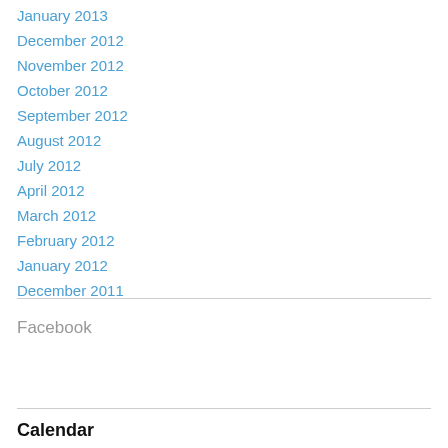January 2013
December 2012
November 2012
October 2012
September 2012
August 2012
July 2012
April 2012
March 2012
February 2012
January 2012
December 2011
Facebook
Calendar